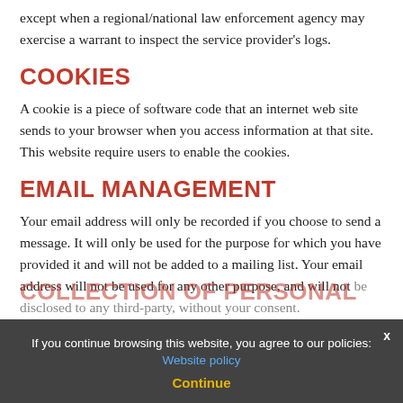except when a regional/national law enforcement agency may exercise a warrant to inspect the service provider's logs.
COOKIES
A cookie is a piece of software code that an internet web site sends to your browser when you access information at that site. This website require users to enable the cookies.
EMAIL MANAGEMENT
Your email address will only be recorded if you choose to send a message. It will only be used for the purpose for which you have provided it and will not be added to a mailing list. Your email address will not be used for any other purpose, and will not be disclosed to any third-party, without your consent.
COLLECTION OF PERSONAL
If you continue browsing this website, you agree to our policies: Website policy
Continue